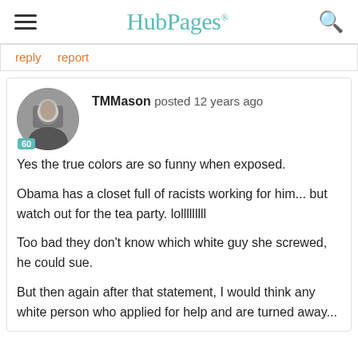HubPages
reply   report
TMMason posted 12 years ago

Yes the true colors are so funny when exposed.

Obama has a closet full of racists working for him... but watch out for the tea party. lolllllllll

Too bad they don't know which white guy she screwed, he could sue.

But then again after that statement, I would think any white person who applied for help and are turned away...